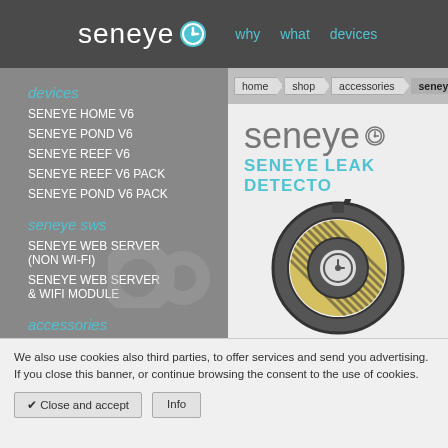seneye — why  what  devices
home > shop > accessories > seneye leak d...
devices
SENEYE HOME V6
SENEYE POND V6
SENEYE REEF V6
SENEYE REEF V6 PACK
SENEYE POND V6 PACK
seneye sws
SENEYE WEB SERVER (NON WI-FI)
SENEYE WEB SERVER & WIFI MODULE
accessories
LIGHT METER
UPGRADE
SENEYE PART PACK
seneye
SENEYE LEAK DETECTO...
[Figure (illustration): Illustration of Seneye leak detector device showing a circular ring-shaped sensor with yellow/gold striped cable and a cord, with the seneye logo on the device body.]
We also use cookies also third parties, to offer services and send you advertising. If you close this banner, or continue browsing the consent to the use of cookies.
✔ Close and accept   Info